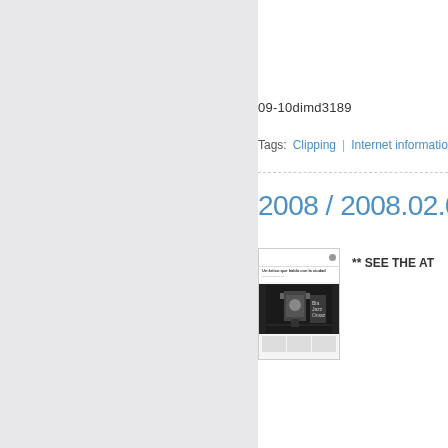09-10dimd3189
Tags: Clipping | Internet information
2008 / 2008.02.08
[Figure (photo): Thumbnail of a newspaper clipping showing a headline and black-and-white photo]
** SEE THE AT